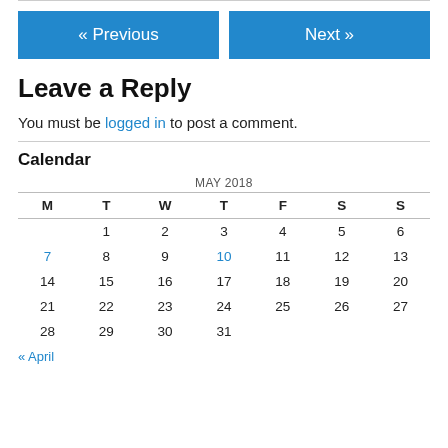[Figure (other): Navigation buttons: « Previous and Next »]
Leave a Reply
You must be logged in to post a comment.
Calendar
| M | T | W | T | F | S | S |
| --- | --- | --- | --- | --- | --- | --- |
|  | 1 | 2 | 3 | 4 | 5 | 6 |
| 7 | 8 | 9 | 10 | 11 | 12 | 13 |
| 14 | 15 | 16 | 17 | 18 | 19 | 20 |
| 21 | 22 | 23 | 24 | 25 | 26 | 27 |
| 28 | 29 | 30 | 31 |  |  |  |